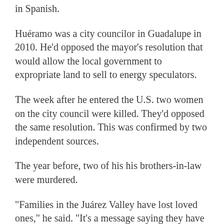in Spanish.
Huéramo was a city councilor in Guadalupe in 2010. He'd opposed the mayor's resolution that would allow the local government to expropriate land to sell to energy speculators.
The week after he entered the U.S. two women on the city council were killed. They'd opposed the same resolution. This was confirmed by two independent sources.
The year before, two of his his brothers-in-law were murdered.
“Families in the Juárez Valley have lost loved ones,” he said. “It’s a message saying they have to leave the Juarez Valley.”